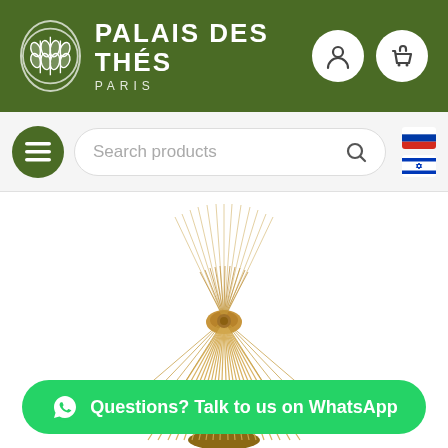[Figure (logo): Palais des Thés Paris logo with circular emblem and white text on green background header]
[Figure (screenshot): Navigation bar with hamburger menu button, search bar labeled 'Search products', and country flag icons (Russia, Israel)]
[Figure (photo): A bamboo matcha whisk (chasen) photographed on white background, showing the splayed bamboo tines]
[Figure (other): Green WhatsApp button with text 'Questions? Talk to us on WhatsApp']